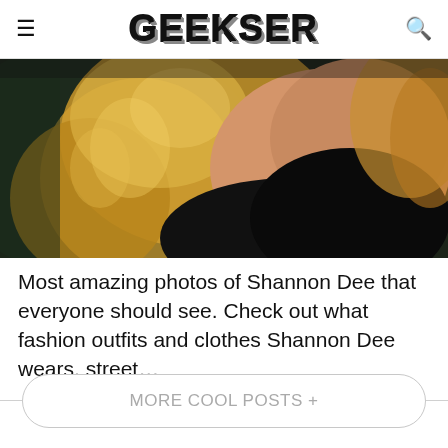GEEKSER
[Figure (photo): Close-up photo of a woman with curly blonde hair, wearing a black off-shoulder top, photographed from behind/side against a dark background.]
Most amazing photos of Shannon Dee that everyone should see. Check out what fashion outfits and clothes Shannon Dee wears, street…
MORE COOL POSTS +